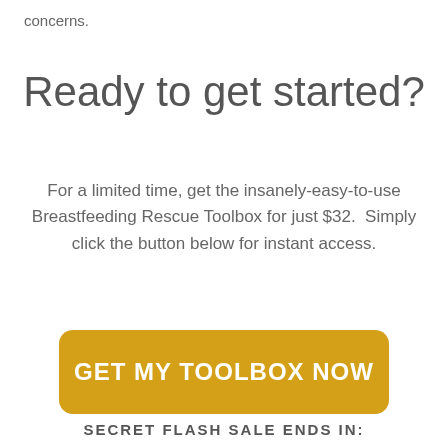concerns.
Ready to get started?
For a limited time, get the insanely-easy-to-use Breastfeeding Rescue Toolbox for just $32.  Simply click the button below for instant access.
[Figure (other): Yellow rounded rectangle button with white bold text reading GET MY TOOLBOX NOW]
SECRET FLASH SALE ENDS IN: